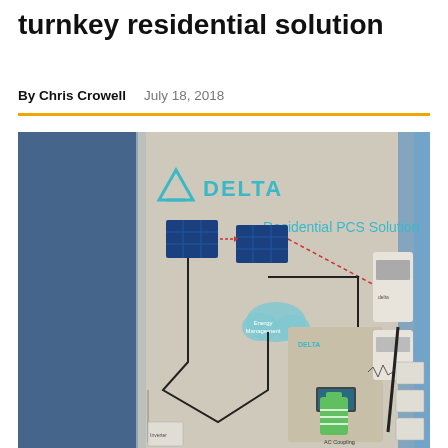turnkey residential solution
By Chris Crowell   July 18, 2018
[Figure (photo): Delta Electronics display booth showing a Residential PCS Solution diagram with solar panels, battery storage, power conversion system units mounted on the wall, Delta logo visible at top left, and text 'Residential PCS Solution' on the right side.]